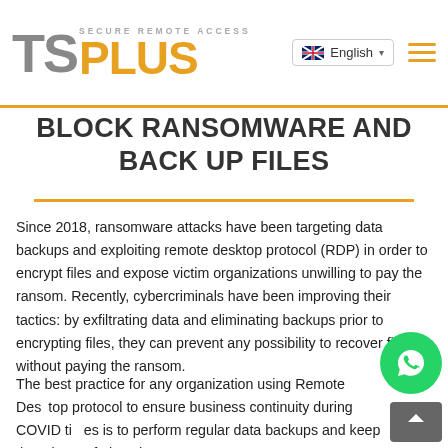TSPlus - Secure Remote Access
BLOCK RANSOMWARE AND BACK UP FILES
Since 2018, ransomware attacks have been targeting data backups and exploiting remote desktop protocol (RDP) in order to encrypt files and expose victim organizations unwilling to pay the ransom. Recently, cybercriminals have been improving their tactics: by exfiltrating data and eliminating backups prior to encrypting files, they can prevent any possibility to recover files without paying the ransom.
The best practice for any organization using Remote Desktop protocol to ensure business continuity during COVID times is to perform regular data backups and keep them in a safe location.